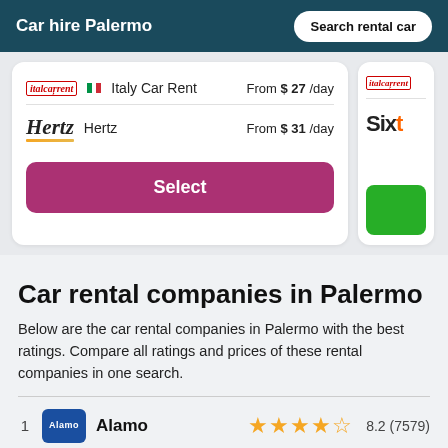Car hire Palermo | Search rental car
| Logo | Company | Price |
| --- | --- | --- |
| Italy Car Rent logo | Italy Car Rent | From $ 27 /day |
| Hertz logo | Hertz | From $ 31 /day |
Select
Car rental companies in Palermo
Below are the car rental companies in Palermo with the best ratings. Compare all ratings and prices of these rental companies in one search.
1  Alamo  8.2 (7579)